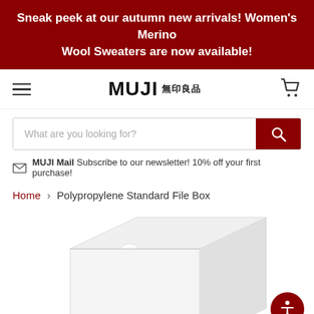Sneak peek at our autumn new arrivals! Women's Merino Wool Sweaters are now available!
[Figure (logo): MUJI 無印良品 logo with hamburger menu and shopping cart icons]
What are you looking for?
MUJI Mail Subscribe to our newsletter! 10% off your first purchase!
Home > Polypropylene Standard File Box
[Figure (photo): White polypropylene standard file box product photo, showing the box from an angle with a front-open cut-out view]